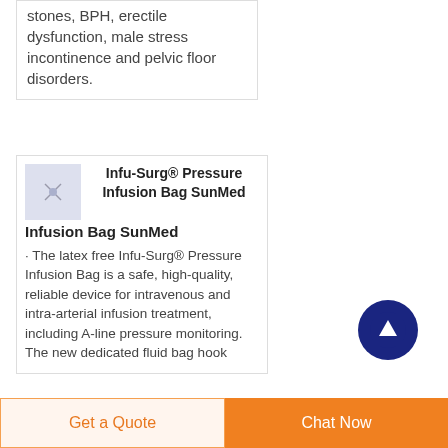stones, BPH, erectile dysfunction, male stress incontinence and pelvic floor disorders.
[Figure (photo): Small product thumbnail image of Infu-Surg Pressure Infusion Bag]
Infu-Surg® Pressure Infusion Bag SunMed
· The latex free Infu-Surg® Pressure Infusion Bag is a safe, high-quality, reliable device for intravenous and intra-arterial infusion treatment, including A-line pressure monitoring. The new dedicated fluid bag hook
[Figure (other): Scroll to top button — dark navy blue circle with white upward arrow]
Get a Quote   Chat Now